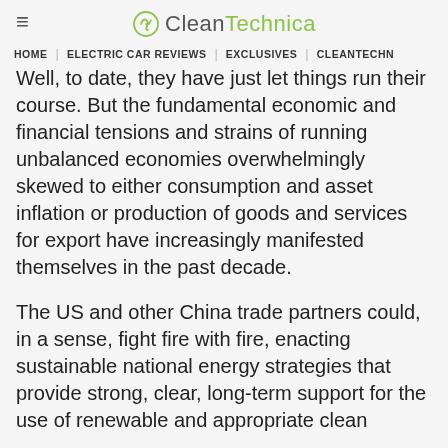CleanTechnica
HOME | ELECTRIC CAR REVIEWS | EXCLUSIVES | CLEANTECHN
Well, to date, they have just let things run their course. But the fundamental economic and financial tensions and strains of running unbalanced economies overwhelmingly skewed to either consumption and asset inflation or production of goods and services for export have increasingly manifested themselves in the past decade.
The US and other China trade partners could, in a sense, fight fire with fire, enacting sustainable national energy strategies that provide strong, clear, long-term support for the use of renewable and appropriate clean